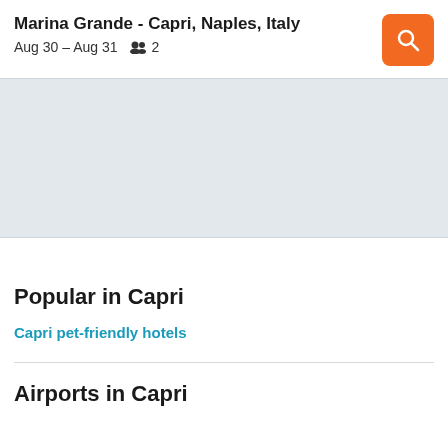Marina Grande - Capri, Naples, Italy
Aug 30 – Aug 31   2
[Figure (map): Light gray map placeholder area showing a map view]
Popular in Capri
Capri pet-friendly hotels
Airports in Capri